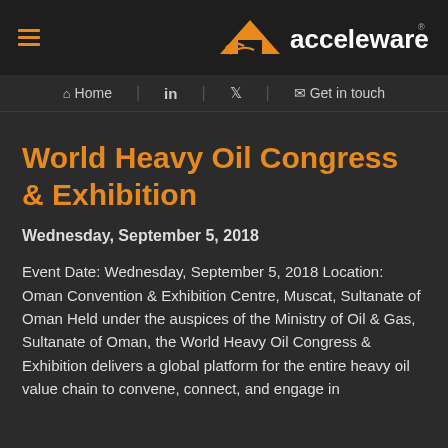acceleware — Home | LinkedIn | Twitter | Get in touch
World Heavy Oil Congress & Exhibition
Wednesday, September 5, 2018
Event Date: Wednesday, September 5, 2018 Location: Oman Convention & Exhibition Centre, Muscat, Sultanate of Oman Held under the auspices of the Ministry of Oil & Gas, Sultanate of Oman, the World Heavy Oil Congress & Exhibition delivers a global platform for the entire heavy oil value chain to convene, connect, and engage in